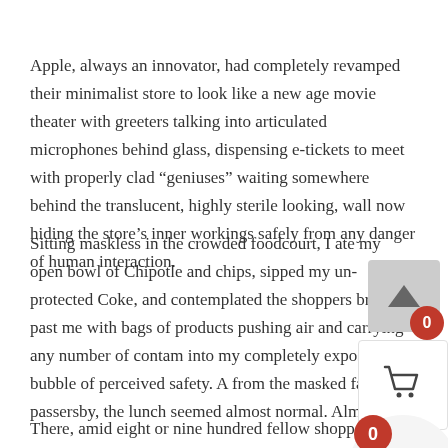Apple, always an innovator, had completely revamped their minimalist store to look like a new age movie theater with greeters talking into articulated microphones behind glass, dispensing e-tickets to meet with properly clad “geniuses” waiting somewhere behind the translucent, highly sterile looking, wall now hiding the store’s inner workings safely from any danger of human interaction.
Sitting maskless in the crowded foodcourt, I ate my open bowl of Chipotle and chips, sipped my un-protected Coke, and contemplated the shoppers brushing past me with bags of products pushing air and carrying any number of contam into my completely exposed bubble of perceived safety. A from the masked faces of passersby, the lunch seemed almost normal. Almost.
There, amid eight or nine hundred fellow shoppers, I wondered